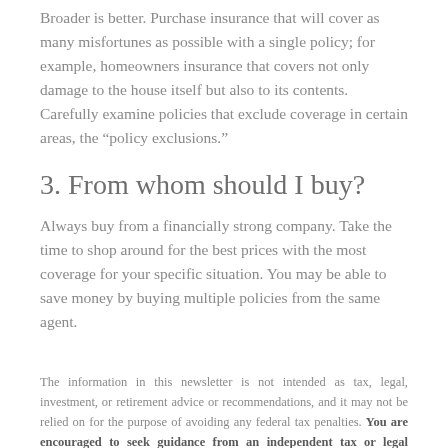Broader is better. Purchase insurance that will cover as many misfortunes as possible with a single policy; for example, homeowners insurance that covers not only damage to the house itself but also to its contents. Carefully examine policies that exclude coverage in certain areas, the “policy exclusions.”
3. From whom should I buy?
Always buy from a financially strong company. Take the time to shop around for the best prices with the most coverage for your specific situation. You may be able to save money by buying multiple policies from the same agent.
The information in this newsletter is not intended as tax, legal, investment, or retirement advice or recommendations, and it may not be relied on for the purpose of avoiding any federal tax penalties. You are encouraged to seek guidance from an independent tax or legal professional. The content is derived from